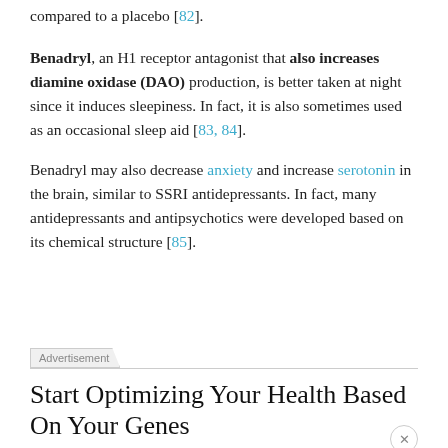compared to a placebo [82].
Benadryl, an H1 receptor antagonist that also increases diamine oxidase (DAO) production, is better taken at night since it induces sleepiness. In fact, it is also sometimes used as an occasional sleep aid [83, 84].
Benadryl may also decrease anxiety and increase serotonin in the brain, similar to SSRI antidepressants. In fact, many antidepressants and antipsychotics were developed based on its chemical structure [85].
Advertisement
Start Optimizing Your Health Based On Your Genes
Take a look at your personal genetic data to find the